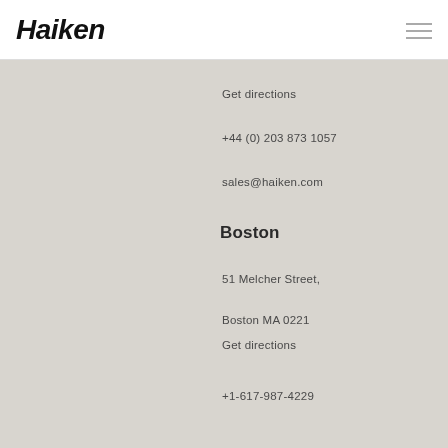[Figure (logo): Haiken logo in bold italic black text]
Get directions
+44 (0) 203 873 1057
sales@haiken.com
Boston
51 Melcher Street,
Boston MA 0221
Get directions
+1-617-987-4229